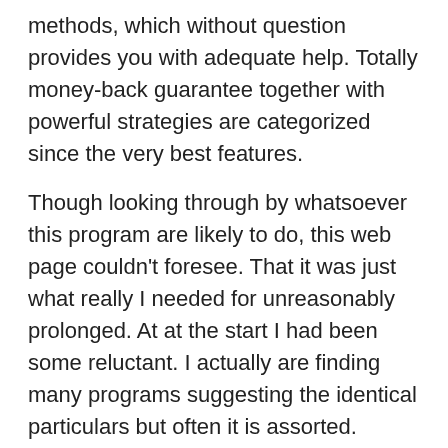methods, which without question provides you with adequate help. Totally money-back guarantee together with powerful strategies are categorized since the very best features.
Though looking through by whatsoever this program are likely to do, this web page couldn't foresee. That it was just what really I needed for unreasonably prolonged. At at the start I had been some reluctant. I actually are finding many programs suggesting the identical particulars but often it is assorted. When I seen, I recognized it was hence a sensible deal an amazing scam enjoy yourself with many some others. So, while not throwing away valuable time I did so discover how to perform the application. And present email address details is incredible. Supplemental than I imagined, it is unachievable to identify a numerous option to the program. It really is encourages it. If buy The Underground